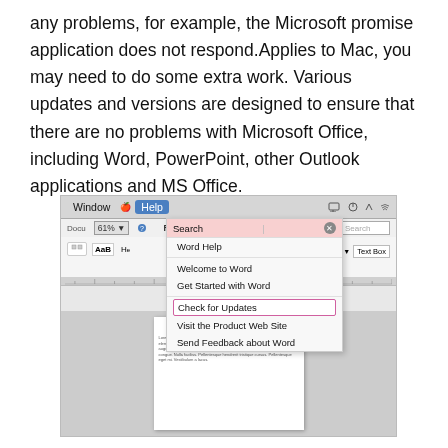any problems, for example, the Microsoft promise application does not respond.Applies to Mac, you may need to do some extra work. Various updates and versions are designed to ensure that there are no problems with Microsoft Office, including Word, PowerPoint, other Outlook applications and MS Office.
[Figure (screenshot): Screenshot of Microsoft Word for Mac showing the Help menu open with options: Search, Word Help, Welcome to Word, Get Started with Word, Check for Updates (highlighted with pink border), Visit the Product Web Site, Send Feedback about Word. The document workspace and ribbon are visible behind the menu.]